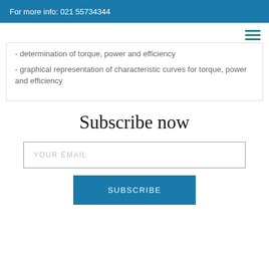For more info: 021 55734344
- determination of torque, power and efficiency
- graphical representation of characteristic curves for torque, power and efficiency
Subscribe now
YOUR EMAIL
SUBSCRIBE